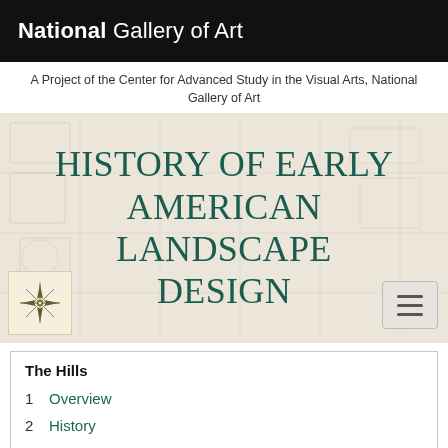National Gallery of Art
A Project of the Center for Advanced Study in the Visual Arts, National Gallery of Art
HISTORY OF EARLY AMERICAN LANDSCAPE DESIGN
[Figure (illustration): Compass rose icon on a tan/cream square background]
[Figure (other): Hamburger menu button with three horizontal lines]
The Hills
1  Overview
2  History
3  Texts
4  Images
5  References